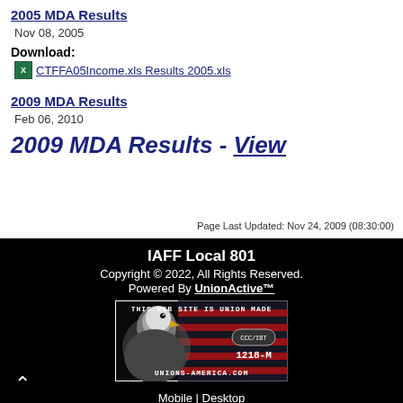2005 MDA Results
Nov 08, 2005
Download:
CTFFA05Income.xls Results 2005.xls
2009 MDA Results
Feb 06, 2010
2009 MDA Results - View
Page Last Updated: Nov 24, 2009 (08:30:00)
IAFF Local 801
Copyright © 2022, All Rights Reserved.
Powered By UnionActive™
Mobile | Desktop